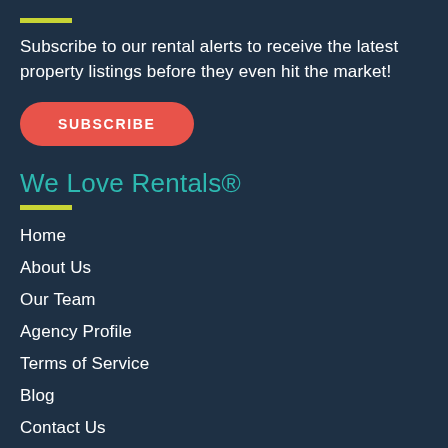Subscribe to our rental alerts to receive the latest property listings before they even hit the market!
SUBSCRIBE
We Love Rentals®
Home
About Us
Our Team
Agency Profile
Terms of Service
Blog
Contact Us
Sitemap
Privacy Policy